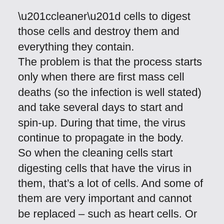“cleaner” cells to digest those cells and destroy them and everything they contain.
The problem is that the process starts only when there are first mass cell deaths (so the infection is well stated) and take several days to start and spin-up. During that time, the virus continue to propagate in the body.
So when the cleaning cells start digesting cells that have the virus in them, that’s a lot of cells. And some of them are very important and cannot be replaced – such as heart cells. Or some cells that can be regenerated, but if there are too much that die, you die as well (a good example are lung cells).